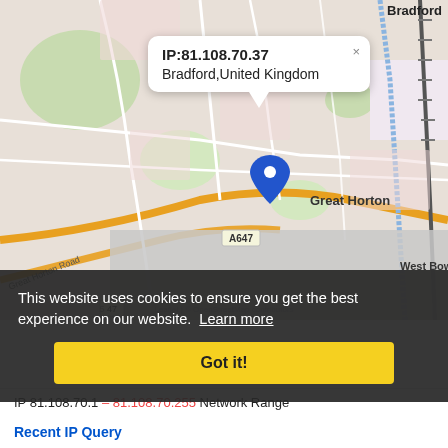[Figure (map): OpenStreetMap showing Bradford, United Kingdom area centered on Great Horton, with a blue location pin marker and road labels including A647, Great Horton Road, West Bowling. A popup tooltip shows IP:81.108.70.37 / Bradford,United Kingdom. Map attribution: Leaflet | © OpenStreetMap contributors.]
This website uses cookies to ensure you get the best experience on our website. Learn more
Got it!
IP 81.108.70.1 – 81.108.70.255 Network Range
Recent IP Query